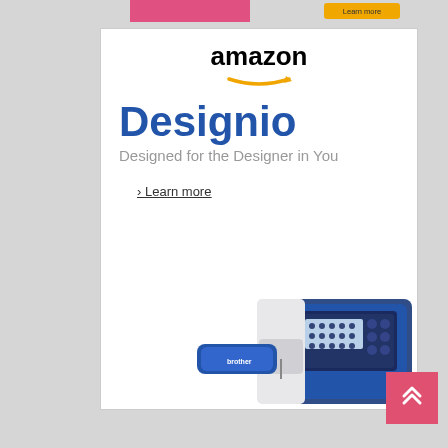[Figure (screenshot): Amazon Designio advertisement banner showing the Amazon logo, 'Designio' heading in blue, subtitle 'Designed for the Designer in You', a 'Learn more' link, and an image of sewing/embroidery machines. Partial pink banner visible at top. Gray background with white ad box.]
amazon
Designio
Designed for the Designer in You
> Learn more
[Figure (illustration): Scroll-to-top button with double chevron up arrows in coral/pink color at bottom right]